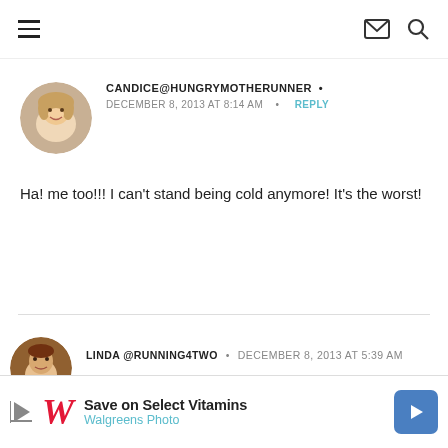Navigation bar with hamburger menu, mail icon, and search icon
[Figure (photo): Circular avatar photo of a blonde woman smiling]
CANDICE@HUNGRYMOTHERUNNER • DECEMBER 8, 2013 AT 8:14 AM • REPLY
Ha! me too!!! I can't stand being cold anymore! It's the worst!
[Figure (photo): Circular avatar photo of a person outdoors]
LINDA @RUNNING4TWO • DECEMBER 8, 2013 AT 5:39 AM
[Figure (infographic): Walgreens advertisement: Save on Select Vitamins / Walgreens Photo]